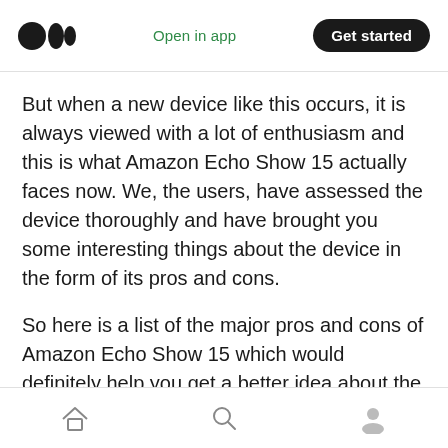Open in app | Get started
But when a new device like this occurs, it is always viewed with a lot of enthusiasm and this is what Amazon Echo Show 15 actually faces now. We, the users, have assessed the device thoroughly and have brought you some interesting things about the device in the form of its pros and cons.
So here is a list of the major pros and cons of Amazon Echo Show 15 which would definitely help you get a better idea about the device.
Pros of Amazon Echo Show 15:
Home | Search | Profile